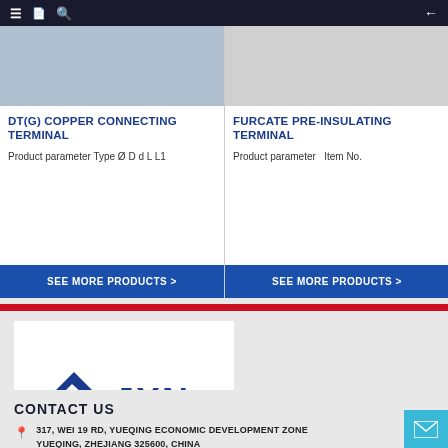Navigation bar with menu, language, search, and back icons
DT(G) COPPER CONNECTING TERMINAL
Product parameter Type Ø D d L L1
SEE MORE PRODUCTS >
FURCATE PRE-INSULATING TERMINAL
Product parameter  Item No.
SEE MORE PRODUCTS >
[Figure (logo): JXN brand logo with blue stylized arrow/envelope icon and JXN text]
CONTACT US
317, WEI 19 RD, YUEQING ECONOMIC DEVELOPMENT ZONE YUEQING, ZHEJIANG 325600, CHINA